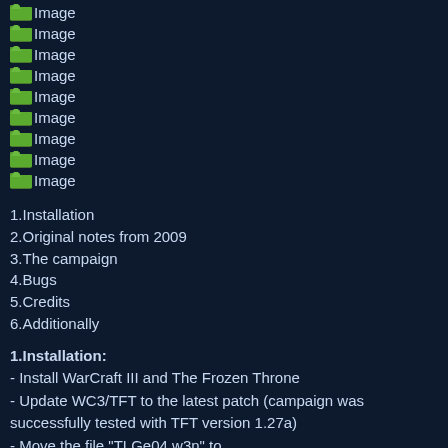[Figure (other): Folder icon with label 'Image']
[Figure (other): Folder icon with label 'Image']
[Figure (other): Folder icon with label 'Image']
[Figure (other): Folder icon with label 'Image']
[Figure (other): Folder icon with label 'Image']
[Figure (other): Folder icon with label 'Image']
[Figure (other): Folder icon with label 'Image']
[Figure (other): Folder icon with label 'Image']
[Figure (other): Folder icon with label 'Image']
1.Installation
2.Original notes from 2009
3.The campaign
4.Bugs
5.Credits
6.Additionally
1.Installation:
- Install WarCraft III and The Frozen Throne
- Update WC3/TFT to the latest patch (campaign was successfully tested with TFT version 1.27a)
- Move the file "TLGe04.w3n" to X:\YourWarCraft3InstallationFolder\Campaigns\"here" (e.g. 'C:\Games\Warcraft III\Campaigns\TLGe04.w3n")
- Start The Frozen Throne, select "Single Player", select "Custom